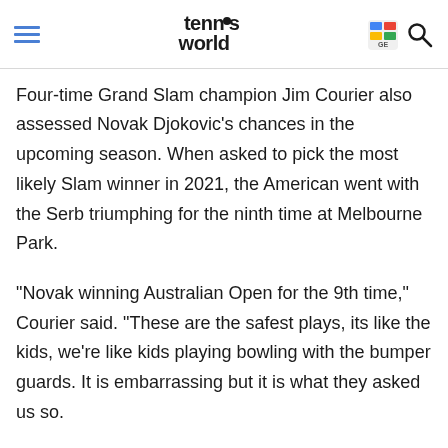tennis world
Four-time Grand Slam champion Jim Courier also assessed Novak Djokovic's chances in the upcoming season. When asked to pick the most likely Slam winner in 2021, the American went with the Serb triumphing for the ninth time at Melbourne Park.
"Novak winning Australian Open for the 9th time," Courier said. "These are the safest plays, its like the kids, we're like kids playing bowling with the bumper guards. It is embarrassing but it is what they asked us so.